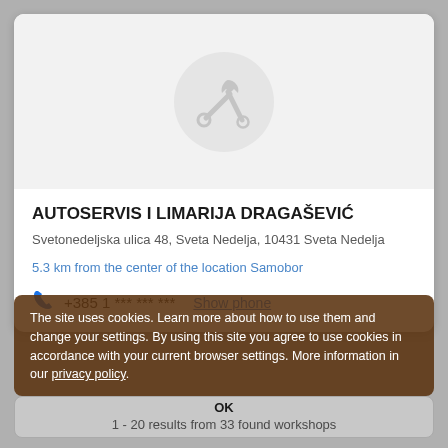[Figure (illustration): Auto repair service icon: wrench and gear/spanner crossed, inside a light grey circle, on a light grey background panel]
AUTOSERVIS I LIMARIJA DRAGAŠEVIĆ
Svetonedeljska ulica 48, Sveta Nedelja, 10431 Sveta Nedelja
5.3 km from the center of the location Samobor
+385 1 *** *** ***  Show phone
The site uses cookies. Learn more about how to use them and change your settings. By using this site you agree to use cookies in accordance with your current browser settings. More information in our privacy policy.
OK
1 - 20 results from 33 found workshops